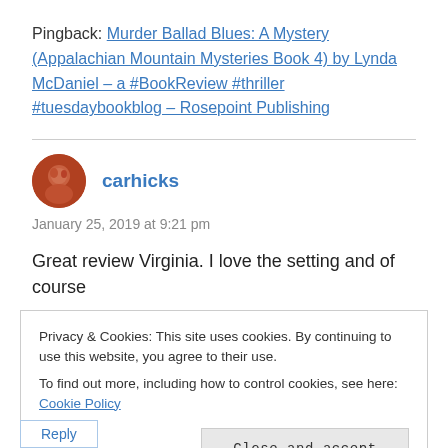Pingback: Murder Ballad Blues: A Mystery (Appalachian Mountain Mysteries Book 4) by Lynda McDaniel – a #BookReview #thriller #tuesdaybookblog – Rosepoint Publishing
carhicks
January 25, 2019 at 9:21 pm
Great review Virginia. I love the setting and of course
Privacy & Cookies: This site uses cookies. By continuing to use this website, you agree to their use.
To find out more, including how to control cookies, see here: Cookie Policy
Close and accept
Reply